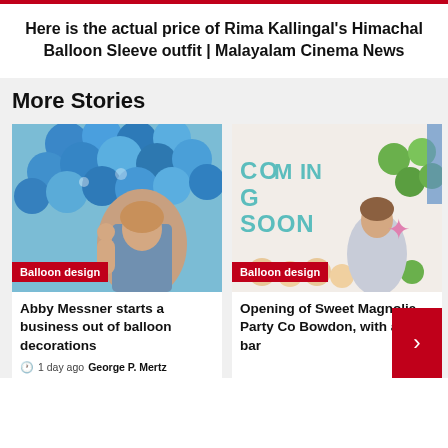Here is the actual price of Rima Kallingal's Himachal Balloon Sleeve outfit | Malayalam Cinema News
More Stories
[Figure (photo): Woman with blue balloons, Balloon design category badge]
Abby Messner starts a business out of balloon decorations
1 day ago  George P. Mertz
[Figure (photo): Woman in front of Coming Soon balloon sign, Balloon design category badge]
Opening of Sweet Magnolia Party Co Bowdon, with a ba bar